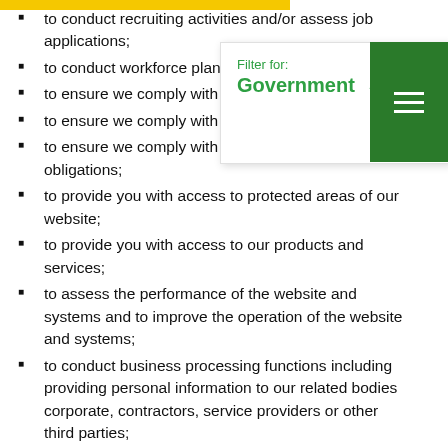to conduct recruiting activities and/or assess job applications;
to conduct workforce planning;
to ensure we comply with our safety obligations;
to ensure we comply with all applicable laws;
to ensure we comply with all our insurance obligations;
to provide you with access to protected areas of our website;
to provide you with access to our products and services;
to assess the performance of the website and systems and to improve the operation of the website and systems;
to conduct business processing functions including providing personal information to our related bodies corporate, contractors, service providers or other third parties;
for the administrative, marketing (including direct marketing), planning, product or service